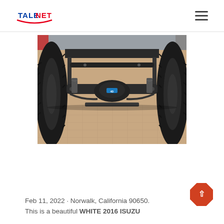TALENET
[Figure (photo): Underside view of a truck chassis showing the rear axle, differential, suspension components, and large off-road tires on a tiled floor surface.]
Feb 11, 2022 · Norwalk, California 90650. This is a beautiful WHITE 2016 ISUZU